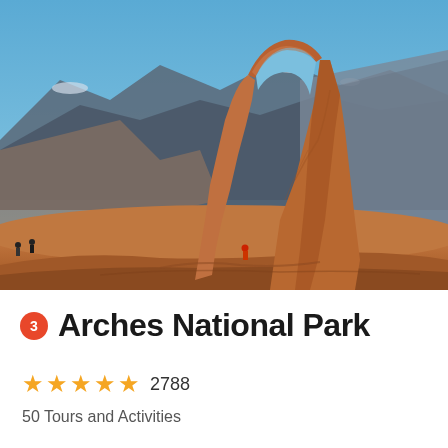[Figure (photo): Delicate Arch at Arches National Park in Utah, a large red sandstone arch formation against a blue sky with snow-dusted mountains and canyons in the background, small hikers visible near the base]
3 Arches National Park
★★★★★ 2788
50 Tours and Activities